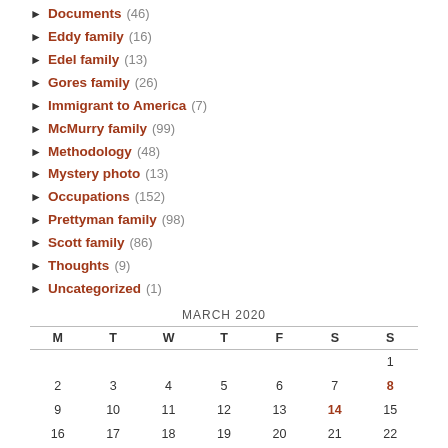▶ Documents (46)
▶ Eddy family (16)
▶ Edel family (13)
▶ Gores family (26)
▶ Immigrant to America (7)
▶ McMurry family (99)
▶ Methodology (48)
▶ Mystery photo (13)
▶ Occupations (152)
▶ Prettyman family (98)
▶ Scott family (86)
▶ Thoughts (9)
▶ Uncategorized (1)
MARCH 2020
| M | T | W | T | F | S | S |
| --- | --- | --- | --- | --- | --- | --- |
|  |  |  |  |  |  | 1 |
| 2 | 3 | 4 | 5 | 6 | 7 | 8 |
| 9 | 10 | 11 | 12 | 13 | 14 | 15 |
| 16 | 17 | 18 | 19 | 20 | 21 | 22 |